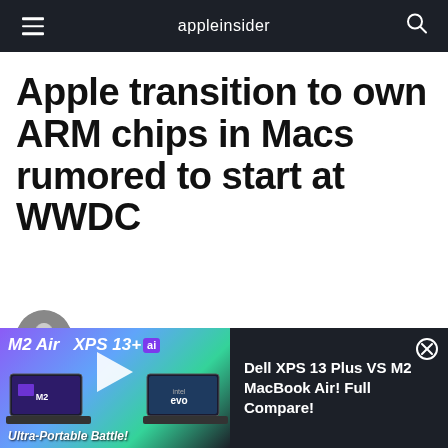appleinsider
Apple transition to own ARM chips in Macs rumored to start at WWDC
Mike Wuerthele | Jun 09, 2020
[Figure (screenshot): Video thumbnail showing M2 Air vs XPS 13+ comparison with laptops and play button, alongside dark panel with text 'Dell XPS 13 Plus VS M2 MacBook Air! Full Compare!' and a close button]